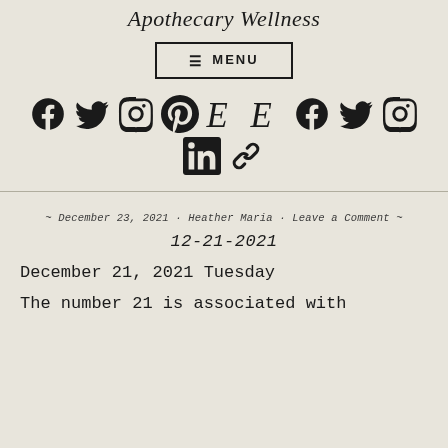Apothecary Wellness
[Figure (other): Navigation menu button with hamburger icon and MENU text, inside a rectangular border]
[Figure (other): Row of social media icons: Facebook, Twitter, Instagram, Pinterest, E (Etsy), E (Etsy), Facebook, Twitter, Instagram; second row: LinkedIn, Link/chain icon]
~ December 23, 2021 · Heather Maria · Leave a Comment ~
12-21-2021
December 21, 2021 Tuesday
The number 21 is associated with